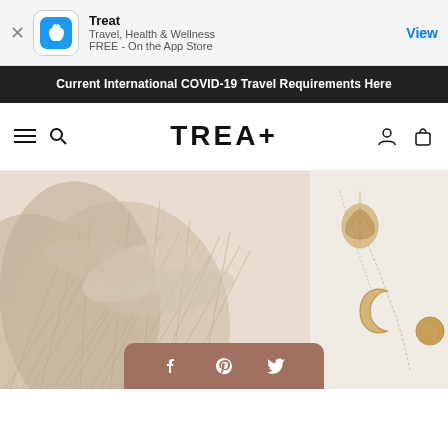[Figure (screenshot): App Store smart banner showing Treat app with Apple icon, 'Travel, Health & Wellness', 'FREE - On the App Store', and a blue 'View' button]
Current International COVID-19 Travel Requirements Here
[Figure (logo): TREA+ logo in bold black text, navigation bar with hamburger menu, search icon, user icon, and cart icon]
[Figure (photo): Hero image showing pampas grass (feathery dried flowers) in beige/cream tones with gold jewelry (leaf pendant, crescent moon pendant, and coin pendant necklaces) on the right side]
[Figure (infographic): Social share bar with Facebook, Pinterest, and Twitter icons on a warm brown/terracotta rounded rectangle]